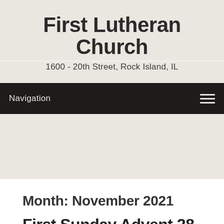First Lutheran Church
1600 - 20th Street, Rock Island, IL
Navigation
Month: November 2021